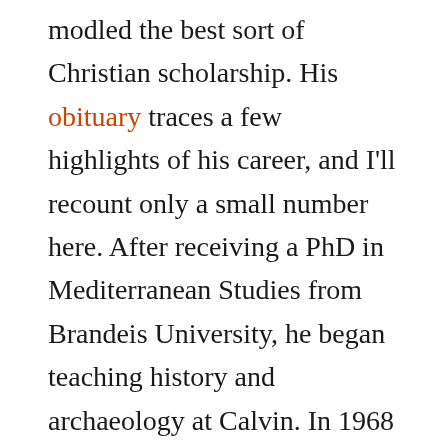modled the best sort of Christian scholarship. His obituary traces a few highlights of his career, and I'll recount only a small number here. After receiving a PhD in Mediterranean Studies from Brandeis University, he began teaching history and archaeology at Calvin. In 1968 he did some initial surveying work at Tel Hisban in Jordan. Even then, Bert's professional work was linked to his passion for justice and humanitarian concern. In the early 1970s, he and his wife Sally created a program with the Christian Reformed World Relief Committee to support Palestinian refugees. He